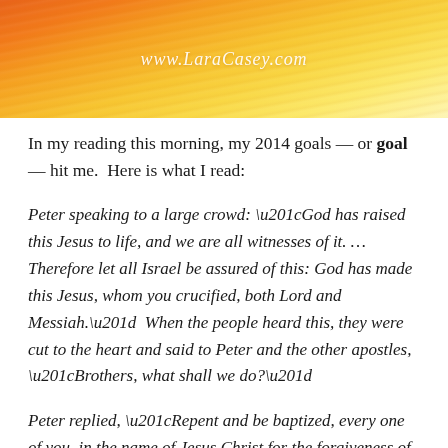[Figure (illustration): Orange and yellow watercolor wash banner header with the text 'www.LaraCasey.com' in white italic script centered on it]
In my reading this morning, my 2014 goals — or goal — hit me.  Here is what I read:
Peter speaking to a large crowd: “God has raised this Jesus to life, and we are all witnesses of it. ...  Therefore let all Israel be assured of this: God has made this Jesus, whom you crucified, both Lord and Messiah.”  When the people heard this, they were cut to the heart and said to Peter and the other apostles, “Brothers, what shall we do?”
Peter replied, “Repent and be baptized, every one of you, in the name of Jesus Christ for the forgiveness of your